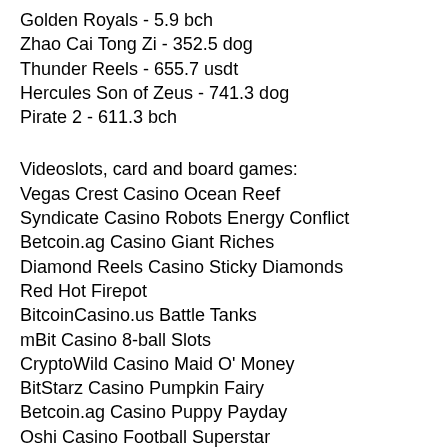Golden Royals - 5.9 bch
Zhao Cai Tong Zi - 352.5 dog
Thunder Reels - 655.7 usdt
Hercules Son of Zeus - 741.3 dog
Pirate 2 - 611.3 bch
Videoslots, card and board games:
Vegas Crest Casino Ocean Reef
Syndicate Casino Robots Energy Conflict
Betcoin.ag Casino Giant Riches
Diamond Reels Casino Sticky Diamonds Red Hot Firepot
BitcoinCasino.us Battle Tanks
mBit Casino 8-ball Slots
CryptoWild Casino Maid O' Money
BitStarz Casino Pumpkin Fairy
Betcoin.ag Casino Puppy Payday
Oshi Casino Football Superstar
Sportsbet.io Cricket Star
Mars Casino Jenny Nevada and the Diamond Temple